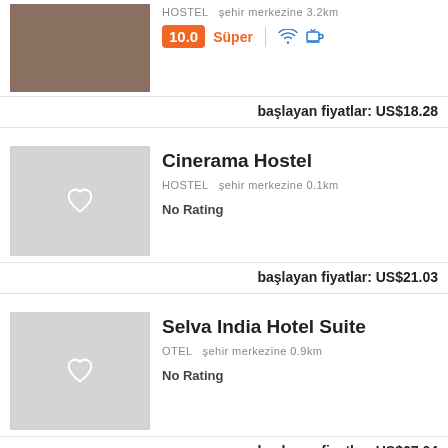[Figure (photo): Thumbnail photo of hostel exterior/deck area with wooden decking]
HOSTEL  şehir merkezine 3.2km
10.0  Süper  [wifi icon]  [cup icon]
başlayan fiyatlar: US$18.28
[Figure (illustration): Placeholder thumbnail with heart icon for Cinerama Hostel]
Cinerama Hostel
HOSTEL  şehir merkezine 0.1km
No Rating
başlayan fiyatlar: US$21.03
[Figure (illustration): Placeholder thumbnail with heart icon for Selva India Hotel Suite]
Selva India Hotel Suite
OTEL  şehir merkezine 0.9km
No Rating
başlayan fiyatlar: US$67.04
[Figure (illustration): Placeholder thumbnail with heart icon for Bariloche Hostel]
Bariloche Hostel